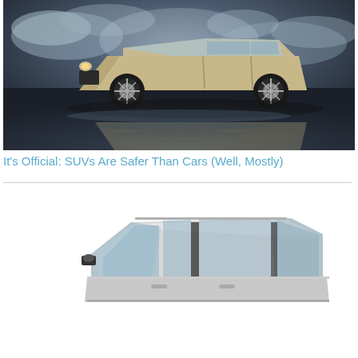[Figure (photo): Silver/gold Ford Edge SUV parked on a wet reflective surface with dramatic cloudy sky background. The vehicle's reflection is visible on the wet ground below it.]
It's Official: SUVs Are Safer Than Cars (Well, Mostly)
[Figure (photo): White/silver SUV or station wagon viewed from the side, showing windows, roof rack, and side mirror on a white background. Only the upper portion of the vehicle is visible.]